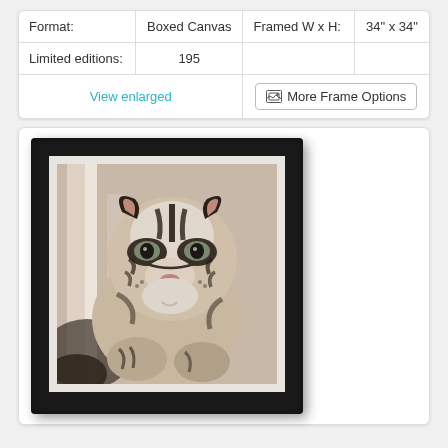| Format: | Boxed Canvas | Framed W x H: | 34" x 34" |
| --- | --- | --- | --- |
| Limited editions: | 195 |  |  |
|  | View enlarged |  | More Frame Options |
[Figure (photo): A white/albino tiger in a black frame with white mat, viewed head-on in a sepia-toned artwork]